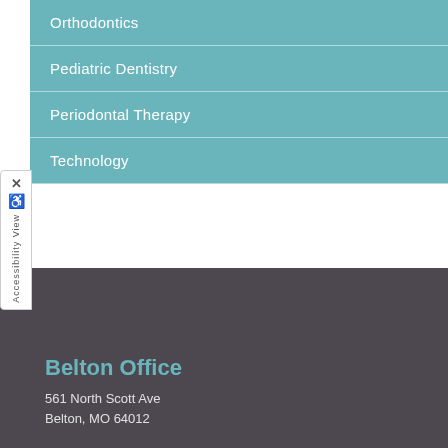Orthodontics
Pediatric Dentistry
Periodontal Therapy
Technology
Belton Office
561 North Scott Ave
Belton, MO 64012